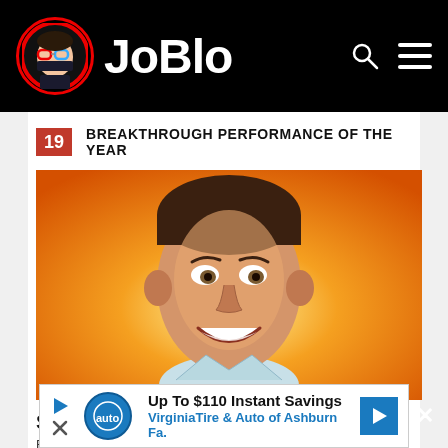JoBlo
19 BREAKTHROUGH PERFORMANCE OF THE YEAR
[Figure (photo): Steve Carell smiling against an orange/yellow background, movie poster style image from The 40-Year Old Virgin]
Steve Carell (The 40-Year Old Virgin)
Runner-Up: Terrence Howard (Hustle & Flow)
The
Steve Carell | The 40-Year Old Virgin
[Figure (infographic): Advertisement banner: Up To $110 Instant Savings - VirginiaTire & Auto of Ashburn Fa.]